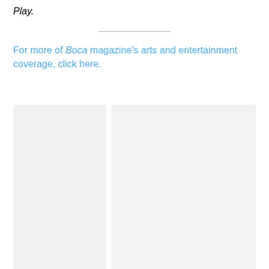Play.
For more of Boca magazine's arts and entertainment coverage, click here.
[Figure (photo): Two placeholder image panels side by side with light gray background]